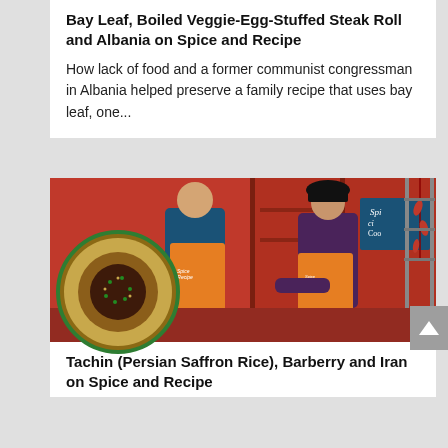Bay Leaf, Boiled Veggie-Egg-Stuffed Steak Roll and Albania on Spice and Recipe
How lack of food and a former communist congressman in Albania helped preserve a family recipe that uses bay leaf, one...
[Figure (photo): Two people in orange aprons on a cooking show set with red background, a circular dish of tachin (Persian saffron rice) in the foreground with a green border circle, and a banner reading TACHIN | IRAN]
Tachin (Persian Saffron Rice), Barberry and Iran on Spice and Recipe